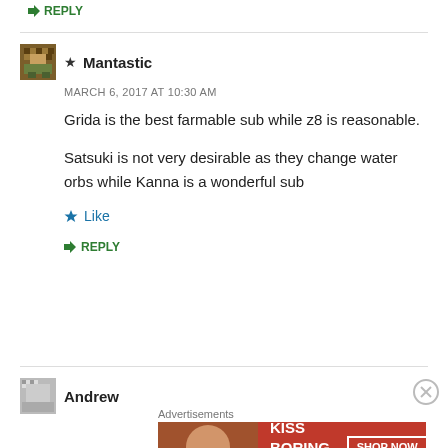↳ REPLY
★ Mantastic
MARCH 6, 2017 AT 10:30 AM
Grida is the best farmable sub while z8 is reasonable.

Satsuki is not very desirable as they change water orbs while Kanna is a wonderful sub
★ Like
↳ REPLY
Andrew
Advertisements
[Figure (infographic): Macy's advertisement banner: KISS BORING LIPS GOODBYE with SHOP NOW button and Macy's star logo]